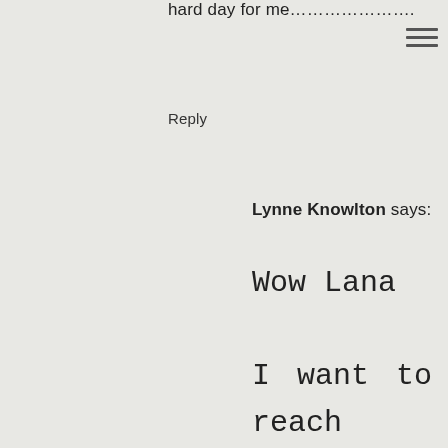hard day for me…………………..
Reply
Lynne Knowlton says:
Wow Lana

I want to reach through the computer screen and give you the hugest HUG ever.